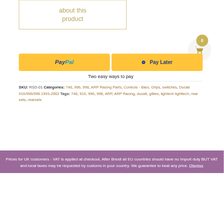[Figure (screenshot): Partial product box with golden border showing text 'about this product']
[Figure (screenshot): Shopping cart icon with badge showing 0]
[Figure (screenshot): PayPal payment buttons: PayPal and Pay Later on yellow background]
Two easy ways to pay
SKU: RSD-01 Categories: 748, 996, 998, ARP Racing Parts, Controls - Bars, Grips, switches, Ducati 916/996/998 1993-2002 Tags: 748, 916, 996, 998, ARP, ARP Racing, ducati, gillies, lightech lighttech, rear sets, rearsets
Prices for UK customers - VAT is applied at checkout, After Brexit all EU countries should have no Import duty BUT VAT and local taxes may be requested by customs in your country. We guarantee to beat any price. Dismiss